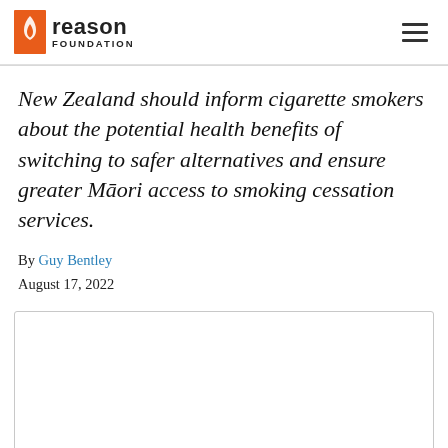Reason Foundation
New Zealand should inform cigarette smokers about the potential health benefits of switching to safer alternatives and ensure greater Māori access to smoking cessation services.
By Guy Bentley
August 17, 2022
[Figure (other): Empty white content box with border, likely a placeholder for an image or embedded media]